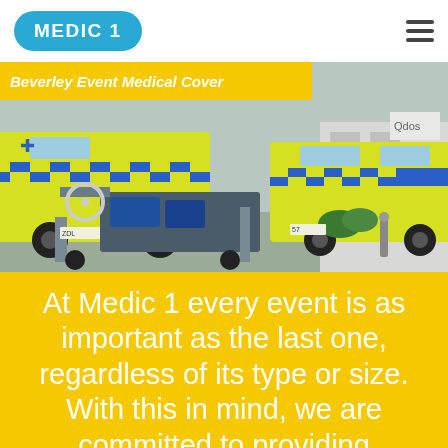[Figure (logo): Medic 1 logo — white text on blue oval]
[Figure (photo): Ambulances parked in yard with medical buggy/cart in foreground; yellow-green ambulances with blue-checker pattern]
Beverley Event Medical Cover
At Medic 1 every event is as important as the last one, regardless of its type or size. With this in mind, we are committed to providing excellent...